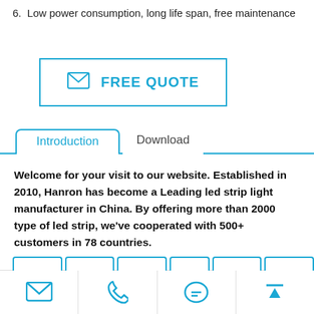6.  Low power consumption, long life span, free maintenance
[Figure (other): FREE QUOTE button with envelope icon, outlined in blue]
[Figure (other): Tab navigation with 'Introduction' (active, blue) and 'Download' tabs]
Welcome for your visit to our website. Established in 2010, Hanron has become a Leading led strip light manufacturer in China. By offering more than 2000 type of led strip, we've cooperated with 500+ customers in 78 countries.
[Figure (other): Bottom navigation bar with email, phone, chat, and upload/top icons]
[Figure (other): Partially visible row of tab/button elements at the bottom of the content area]